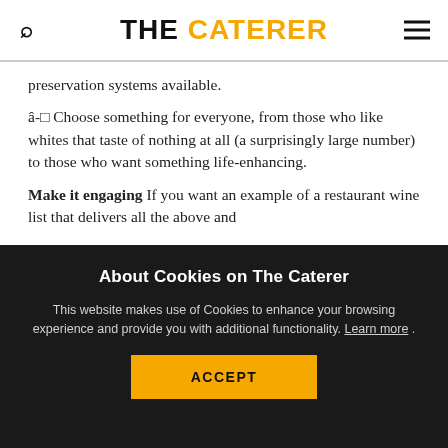THE CATERER
preservation systems available. â-□ Choose something for everyone, from those who like whites that taste of nothing at all (a surprisingly large number) to those who want something life-enhancing.
Make it engaging If you want an example of a restaurant wine list that delivers all the above and
About Cookies on The Caterer
This website makes use of Cookies to enhance your browsing experience and provide you with additional functionality. Learn more .
ACCEPT